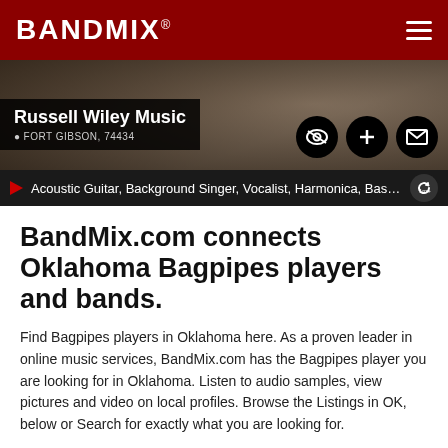BANDMIX®
[Figure (photo): Profile banner background showing blurred dark earthy tones with a profile card overlay. Profile name: Russell Wiley Music. Location: FORT GIBSON, 74434. Three circular action buttons (eye/view, plus/add, envelope/message) on the right.]
Acoustic Guitar, Background Singer, Vocalist, Harmonica, Bass Gu...
BandMix.com connects Oklahoma Bagpipes players and bands.
Find Bagpipes players in Oklahoma here. As a proven leader in online music services, BandMix.com has the Bagpipes player you are looking for in Oklahoma. Listen to audio samples, view pictures and video on local profiles. Browse the Listings in OK, below or Search for exactly what you are looking for.
BANDMIX